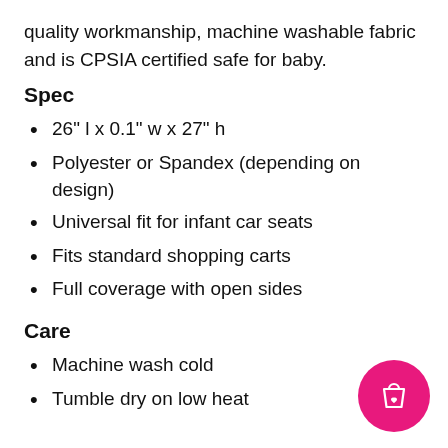quality workmanship, machine washable fabric and is CPSIA certified safe for baby.
Spec
26" l x 0.1" w x 27" h
Polyester or Spandex (depending on design)
Universal fit for infant car seats
Fits standard shopping carts
Full coverage with open sides
Care
Machine wash cold
Tumble dry on low heat